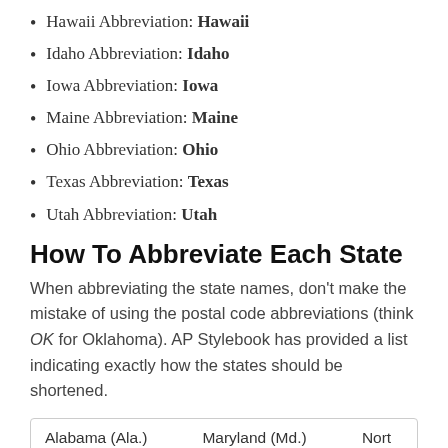Hawaii Abbreviation: Hawaii
Idaho Abbreviation: Idaho
Iowa Abbreviation: Iowa
Maine Abbreviation: Maine
Ohio Abbreviation: Ohio
Texas Abbreviation: Texas
Utah Abbreviation: Utah
How To Abbreviate Each State
When abbreviating the state names, don't make the mistake of using the postal code abbreviations (think OK for Oklahoma). AP Stylebook has provided a list indicating exactly how the states should be shortened.
| Alabama (Ala.) | Maryland (Md.) | Nort |